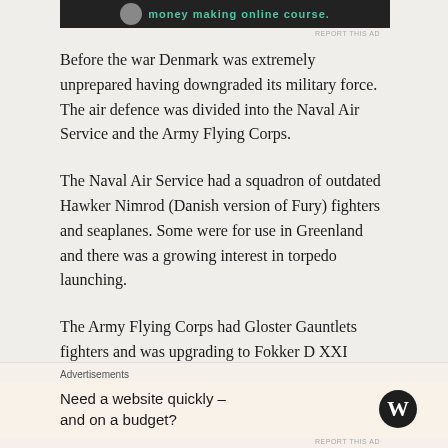[Figure (other): Top advertisement banner with dark background, teal/green text partially visible reading 'money making online course']
Before the war Denmark was extremely unprepared having downgraded its military force. The air defence was divided into the Naval Air Service and the Army Flying Corps.
The Naval Air Service had a squadron of outdated Hawker Nimrod (Danish version of Fury) fighters and seaplanes. Some were for use in Greenland and there was a growing interest in torpedo launching.
The Army Flying Corps had Gloster Gauntlets fighters and was upgrading to Fokker D XXI fighters. The first was bought in Holland the rest were built in Denmark. A Danish production of
Advertisements
Need a website quickly – and on a budget?